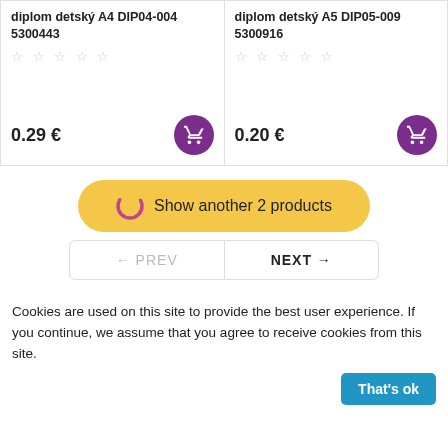diplom detský A4 DIP04-004 5300443
diplom detský A5 DIP05-009 5300916
0.29 €
0.20 €
Show another 2 products
← PREV
NEXT →
Cookies are used on this site to provide the best user experience. If you continue, we assume that you agree to receive cookies from this site.
That's ok